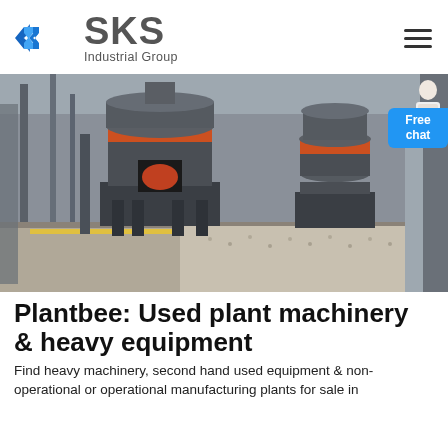[Figure (logo): SKS Industrial Group logo with blue angular S icon and gray text]
[Figure (photo): Industrial grinding mill machinery inside a large factory/warehouse with gray equipment and gravel floor]
Plantbee: Used plant machinery & heavy equipment
Find heavy machinery, second hand used equipment & non-operational or operational manufacturing plants for sale in